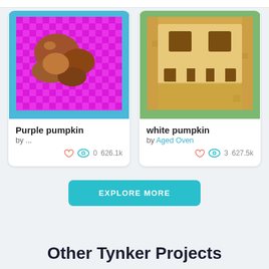[Figure (screenshot): Pixel art image of a purple pumpkin on magenta/pink checkerboard background]
Purple pumpkin
by ...
0  626.1k
[Figure (screenshot): Pixel art image of a white/golden pumpkin face on green background]
white pumpkin
by Aged Oven
3  627.5k
EXPLORE MORE
Other Tynker Projects